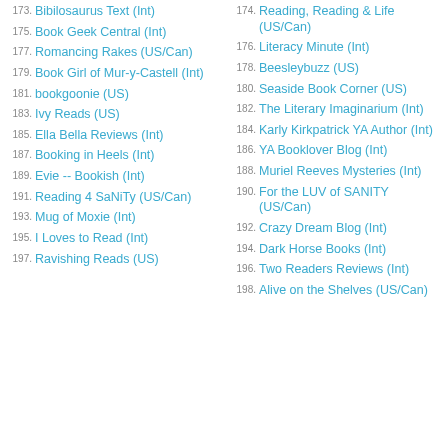173. Bibilosaurus Text (Int)
175. Book Geek Central (Int)
177. Romancing Rakes (US/Can)
179. Book Girl of Mur-y-Castell (Int)
181. bookgoonie (US)
183. Ivy Reads (US)
185. Ella Bella Reviews (Int)
187. Booking in Heels (Int)
189. Evie -- Bookish (Int)
191. Reading 4 SaNiTy (US/Can)
193. Mug of Moxie (Int)
195. I Loves to Read (Int)
197. Ravishing Reads (US)
174. Reading, Reading & Life (US/Can)
176. Literacy Minute (Int)
178. Beesleybuzz (US)
180. Seaside Book Corner (US)
182. The Literary Imaginarium (Int)
184. Karly Kirkpatrick YA Author (Int)
186. YA Booklover Blog (Int)
188. Muriel Reeves Mysteries (Int)
190. For the LUV of SANITY (US/Can)
192. Crazy Dream Blog (Int)
194. Dark Horse Books (Int)
196. Two Readers Reviews (Int)
198. Alive on the Shelves (US/Can)